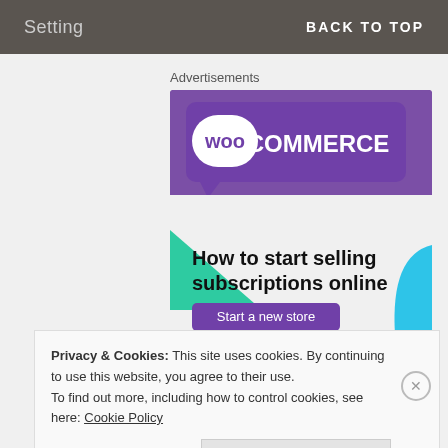Setting   BACK TO TOP
Advertisements
[Figure (screenshot): WooCommerce advertisement banner showing purple logo at top, green triangle shape on left, blue curve on right, bold text 'How to start selling subscriptions online', and a purple 'Start a new store' button]
Privacy & Cookies: This site uses cookies. By continuing to use this website, you agree to their use.
To find out more, including how to control cookies, see here: Cookie Policy
Close and accept